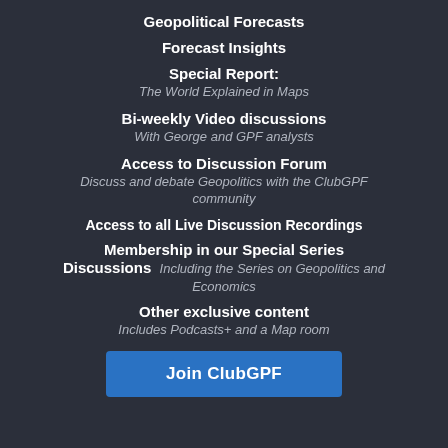Geopolitical Forecasts
Forecast Insights
Special Report:
The World Explained in Maps
Bi-weekly Video discussions
With George and GPF analysts
Access to Discussion Forum
Discuss and debate Geopolitics with the ClubGPF community
Access to all Live Discussion Recordings
Membership in our Special Series Discussions
Including the Series on Geopolitics and Economics
Other exclusive content
Includes Podcasts+ and a Map room
Join ClubGPF